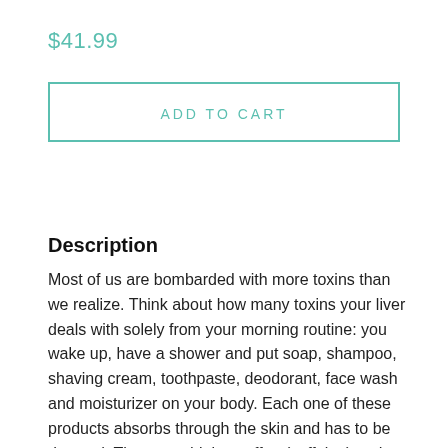$41.99
ADD TO CART
Description
Most of us are bombarded with more toxins than we realize. Think about how many toxins your liver deals with solely from your morning routine: you wake up, have a shower and put soap, shampoo, shaving cream, toothpaste, deodorant, face wash and moisturizer on your body. Each one of these products absorbs through the skin and has to be detoxed. Then you drink a coffee (caffeine) and have a bowl of cereal (food additives), adding even more work to the liver's busy morning. Your liver is already overwhelmed before you have even left